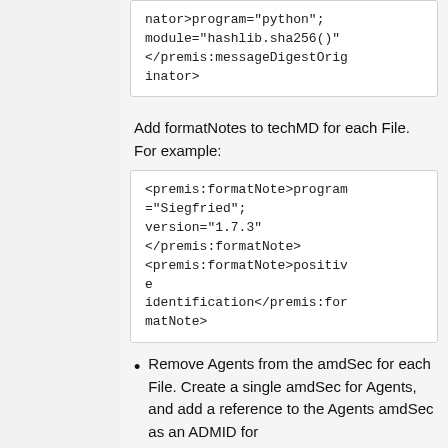nator>program="python"; module="hashlib.sha256()" </premis:messageDigestOriginator>
Add formatNotes to techMD for each File. For example:
<premis:formatNote>program="Siegfried"; version="1.7.3" </premis:formatNote> <premis:formatNote>positive identification</premis:formatNote>
Remove Agents from the amdSec for each File. Create a single amdSec for Agents, and add a reference to the Agents amdSec as an ADMID for